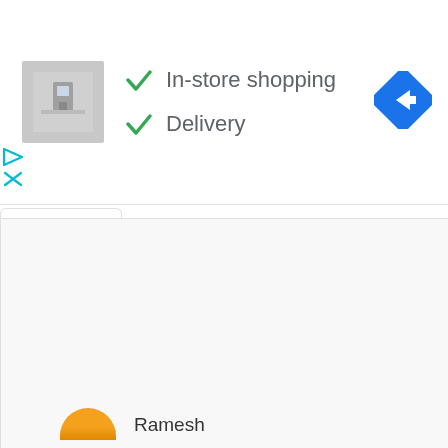[Figure (screenshot): Store thumbnail showing interior photo]
✓ In-store shopping
✓ Delivery
[Figure (other): Blue diamond navigation/directions icon with right-turn arrow]
[Figure (other): Cyan play and X ad control icons]
[Figure (other): Panel with upward chevron tab]
Ramesh